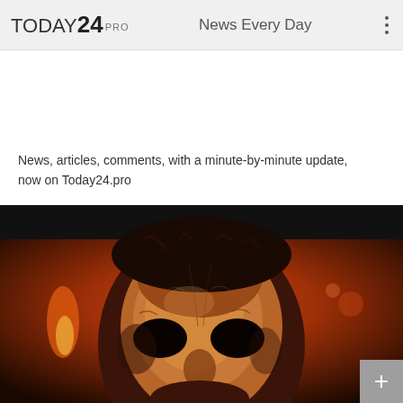TODAY24 PRO   News Every Day
News, articles, comments, with a minute-by-minute update, now on Today24.pro
[Figure (photo): Close-up photo of a horror movie character wearing a pale, weathered mask (Michael Myers from Halloween) against a dark orange/red fiery background. The mask shows dark eye holes and aged, textured surface.]